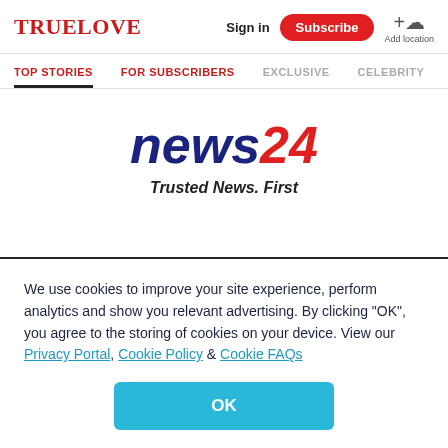TRUELOVE | Sign in | Subscribe | Add location
TOP STORIES | FOR SUBSCRIBERS | EXCLUSIVE | CELEBRITY
[Figure (logo): news24 logo with tagline 'Trusted News. First']
We use cookies to improve your site experience, perform analytics and show you relevant advertising. By clicking "OK", you agree to the storing of cookies on your device. View our Privacy Portal, Cookie Policy & Cookie FAQs
OK